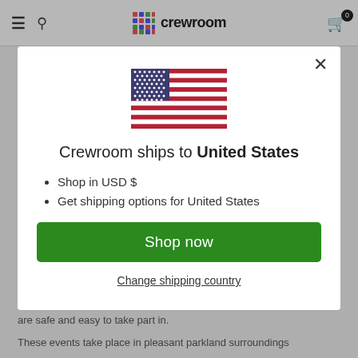crewroom — navigation bar with hamburger menu, search icon, logo, and cart (0)
[Figure (screenshot): Modal dialog over e-commerce page. Shows US flag, text 'Crewroom ships to United States', bullet points for USD and shipping options, green Shop now button, and Change shipping country link.]
Crewroom ships to United States
Shop in USD $
Get shipping options for United States
Shop now
Change shipping country
are safe and easy to take part in.
These events take place in pleasant parkland surroundings